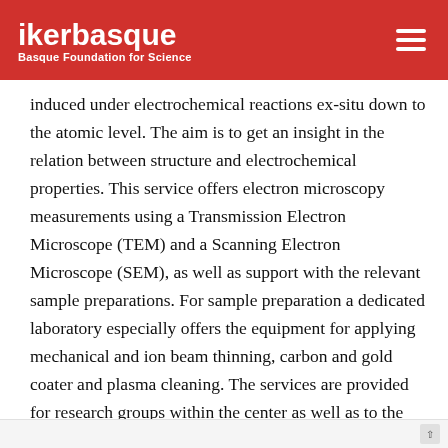ikerbasque – Basque Foundation for Science
induced under electrochemical reactions ex-situ down to the atomic level. The aim is to get an insight in the relation between structure and electrochemical properties. This service offers electron microscopy measurements using a Transmission Electron Microscope (TEM) and a Scanning Electron Microscope (SEM), as well as support with the relevant sample preparations. For sample preparation a dedicated laboratory especially offers the equipment for applying mechanical and ion beam thinning, carbon and gold coater and plasma cleaning. The services are provided for research groups within the center as well as to the external users like other research centers or other public organization, but also to commercial companies and private people.